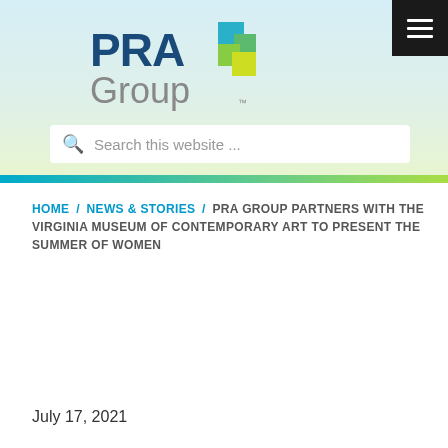[Figure (logo): PRA Group logo with colored square blocks in teal, green, and yellow]
Search this website ...
HOME / NEWS & STORIES / PRA GROUP PARTNERS WITH THE VIRGINIA MUSEUM OF CONTEMPORARY ART TO PRESENT THE SUMMER OF WOMEN
July 17, 2021